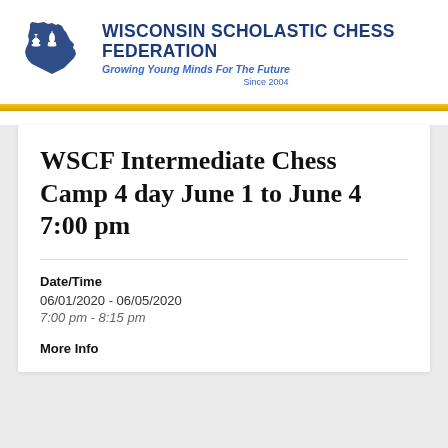[Figure (logo): Wisconsin Scholastic Chess Federation logo with blue Wisconsin state shape and chess pieces (king and bishop)]
WISCONSIN SCHOLASTIC CHESS FEDERATION
Growing Young Minds For The Future
Since 2004
WSCF Intermediate Chess Camp 4 day June 1 to June 4 7:00 pm
Date/Time
06/01/2020 - 06/05/2020
7:00 pm - 8:15 pm
More Info